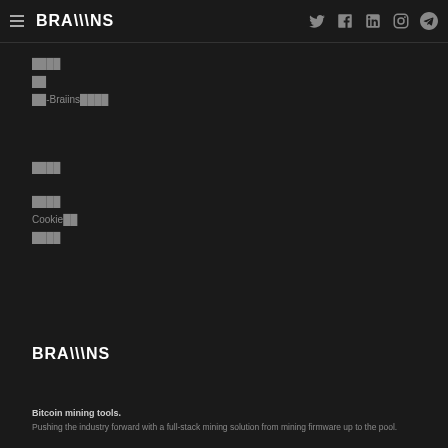BRAIINS
████
██
██-Braiins████
████
████
Cookie██
████
[Figure (logo): BRAIINS logo in white text on dark background]
Bitcoin mining tools.
Pushing the industry forward with a full-stack mining solution from mining firmware up to the pool.